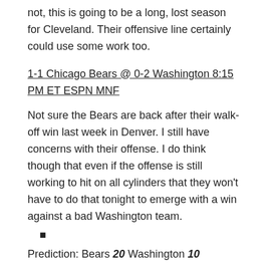not, this is going to be a long, lost season for Cleveland. Their offensive line certainly could use some work too.
1-1 Chicago Bears @ 0-2 Washington 8:15 PM ET ESPN MNF
Not sure the Bears are back after their walk-off win last week in Denver. I still have concerns with their offense. I do think though that even if the offense is still working to hit on all cylinders that they won't have to do that tonight to emerge with a win against a bad Washington team.
•
Prediction: Bears 20 Washington 10